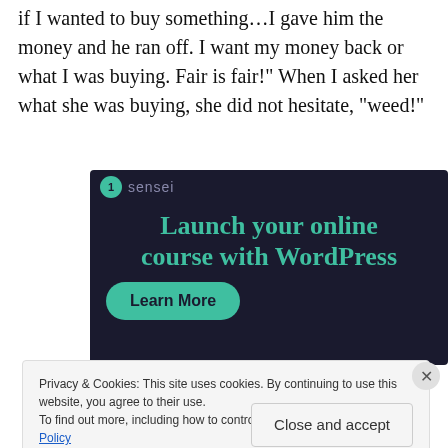if I wanted to buy something…I gave him the money and he ran off. I want my money back or what I was buying. Fair is fair!" When I asked her what she was buying, she did not hesitate, "weed!"
[Figure (screenshot): Advertisement for Sensei platform: dark navy background, teal circle logo with number 1, brand name 'sensei', headline 'Launch your online course with WordPress', teal rounded 'Learn More' button.]
Privacy & Cookies: This site uses cookies. By continuing to use this website, you agree to their use.
To find out more, including how to control cookies, see here: Cookie Policy
Close and accept